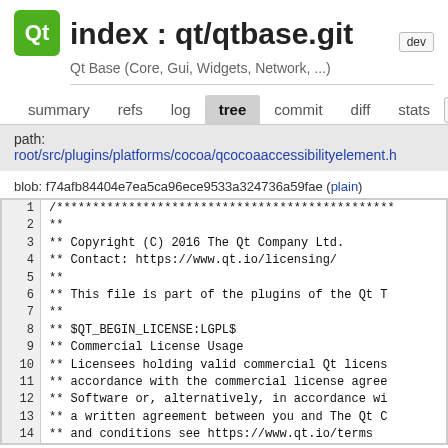index : qt/qtbase.git
Qt Base (Core, Gui, Widgets, Network, ...)
summary  refs  log  tree  commit  diff  stats  lo
path:
root/src/plugins/platforms/cocoa/qcocoaaccessibilityelement.h
blob: f74afb84404e7ea5ca96ece9533a324736a59fae (plain)
| line | code |
| --- | --- |
| 1 | /************************************… |
| 2 | ** |
| 3 | ** Copyright (C) 2016 The Qt Company Ltd. |
| 4 | ** Contact: https://www.qt.io/licensing/ |
| 5 | ** |
| 6 | ** This file is part of the plugins of the Qt T |
| 7 | ** |
| 8 | ** $QT_BEGIN_LICENSE:LGPL$ |
| 9 | ** Commercial License Usage |
| 10 | ** Licensees holding valid commercial Qt licens… |
| 11 | ** accordance with the commercial license agree… |
| 12 | ** Software or, alternatively, in accordance wi… |
| 13 | ** a written agreement between you and The Qt C… |
| 14 | ** and conditions see https://www.qt.io/terms … |